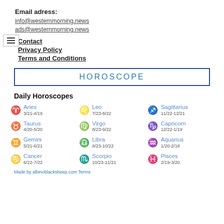Email adress:
info@westernmorning.news
ads@westernmorning.news
Contact
Privacy Policy
Terms and Conditions
HOROSCOPE
Daily Horoscopes
Aries 3/21-4/19
Leo 7/23-8/22
Sagittarius 11/22-12/21
Taurus 4/20-5/20
Virgo 8/23-9/22
Capricorn 12/22-1/19
Gemini 5/21-6/21
Libra 9/23-10/22
Aquarius 1/20-2/18
Cancer 6/22-7/22
Scorpio 10/23-11/21
Pisces 2/19-3/20
Made by albinoblacksheep.com Terms